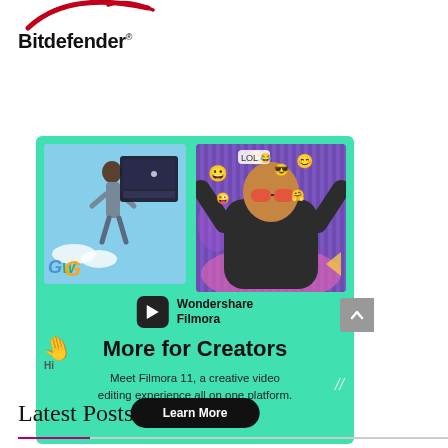[Figure (logo): Bitdefender logo with red swoosh mark above the wordmark]
[Figure (infographic): Wondershare Filmora advertisement banner on teal/mint background. Shows two images: a person jumping in sky-blue background with a dark video editor UI overlay, and a person with emoji decorations on a purple streaked background. Text: Wondershare Filmora, More for Creators, Meet Filmora 11, a creative video editing experience all on one platform. Learn More button.]
Latest Posts